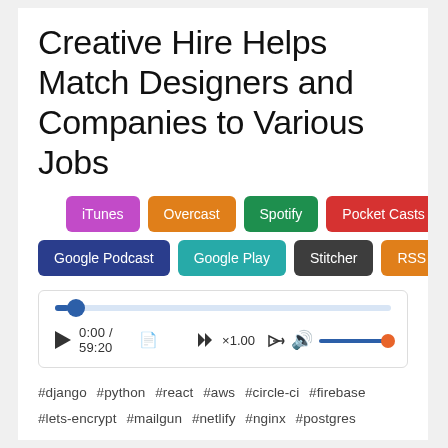Creative Hire Helps Match Designers and Companies to Various Jobs
[Figure (screenshot): Podcast platform buttons: iTunes (purple), Overcast (orange), Spotify (green), Pocket Casts (red) in first row; Google Podcast (dark blue), Google Play (teal), Stitcher (dark gray), RSS (orange), more button in second row]
[Figure (screenshot): Audio player with progress bar, play button, time 0:00 / 59:20, copy icon, fast-forward x1.00 speed, volume control with slider]
#django  #python  #react  #aws  #circle-ci  #firebase
#lets-encrypt  #mailgun  #netlify  #nginx  #postgres
#redis  #s3  #sentry  #ubuntu  #webpack